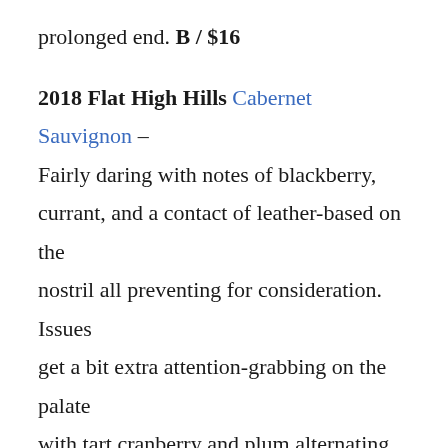prolonged end. B / $16
2018 Flat High Hills Cabernet Sauvignon – Fairly daring with notes of blackberry, currant, and a contact of leather-based on the nostril all preventing for consideration. Issues get a bit extra attention-grabbing on the palate with tart cranberry and plum alternating backwards and forwards, making for a dry and barely acidic end. Not for the faint of coronary heart and doubtless greatest served alongside